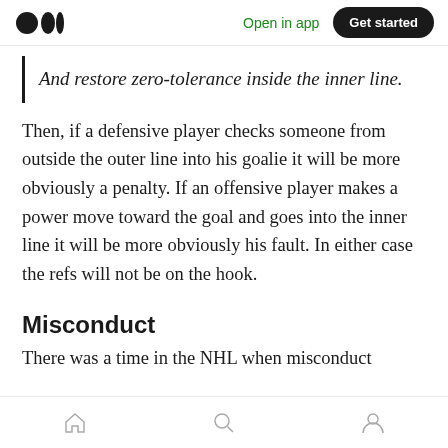Medium app header with logo, Open in app, Get started button
And restore zero-tolerance inside the inner line.
Then, if a defensive player checks someone from outside the outer line into his goalie it will be more obviously a penalty. If an offensive player makes a power move toward the goal and goes into the inner line it will be more obviously his fault. In either case the refs will not be on the hook.
Misconduct
There was a time in the NHL when misconduct
Bottom navigation bar with home, search, profile icons